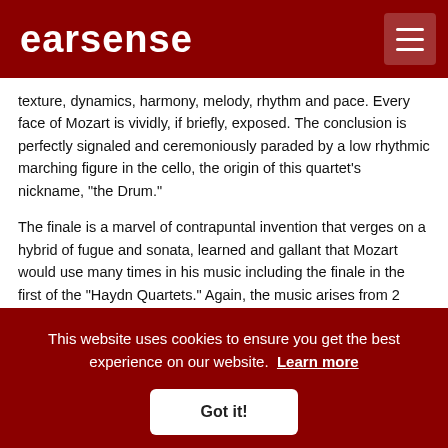earsense
texture, dynamics, harmony, melody, rhythm and pace. Every face of Mozart is vividly, if briefly, exposed. The conclusion is perfectly signaled and ceremoniously paraded by a low rhythmic marching figure in the cello, the origin of this quartet's nickname, "the Drum."
The finale is a marvel of contrapuntal invention that verges on a hybrid of fugue and sonata, learned and gallant that Mozart would use many times in his music including the finale in the first of the "Haydn Quartets." Again, the music arises from 2 distinct motives, a four-note falling chromaticisim and a
This website uses cookies to ensure you get the best experience on our website. Learn more
Got it!
this surge, Mozart sings, in passing, a brand new tune in soft four-